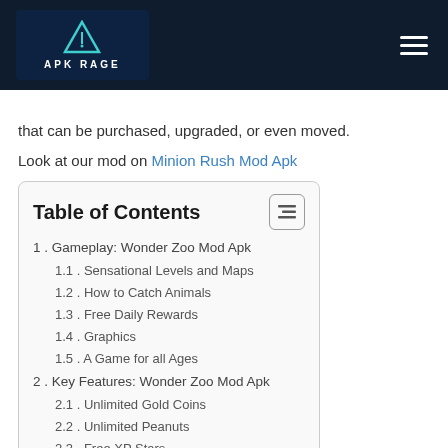APK RAGE
that can be purchased, upgraded, or even moved.
Look at our mod on Minion Rush Mod Apk
Table of Contents
1. Gameplay: Wonder Zoo Mod Apk
1.1. Sensational Levels and Maps
1.2. How to Catch Animals
1.3. Free Daily Rewards
1.4. Graphics
1.5. A Game for all Ages
2. Key Features: Wonder Zoo Mod Apk
2.1. Unlimited Gold Coins
2.2. Unlimited Peanuts
2.3. Free XP Stars
3. Modus Operandi: Wonder Zoo
4. FAQs
5. Final Words